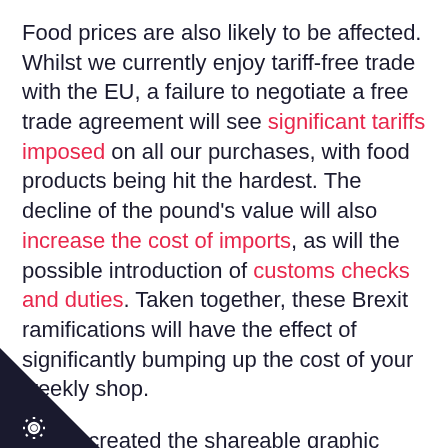Food prices are also likely to be affected. Whilst we currently enjoy tariff-free trade with the EU, a failure to negotiate a free trade agreement will see significant tariffs imposed on all our purchases, with food products being hit the hardest. The decline of the pound's value will also increase the cost of imports, as will the possible introduction of customs checks and duties. Taken together, these Brexit ramifications will have the effect of significantly bumping up the cost of your weekly shop.

We've created the shareable graphic below to provide a quick snapshot of the likely effect that post-Brexit tariffs will have on some of the UK's most-loved products. Please share it with your friends!
[Figure (logo): Black triangle corner badge in the bottom-left with a white gear/cog icon]